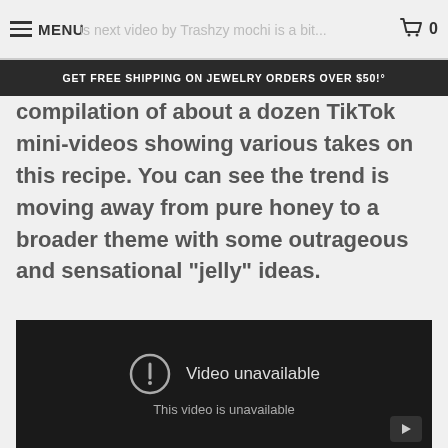MENU  |  ...is next video by Trashzy mochi is a bit...  |  0
GET FREE SHIPPING ON JEWELRY ORDERS OVER $50!°
compilation of about a dozen TikTok mini-videos showing various takes on this recipe. You can see the trend is moving away from pure honey to a broader theme with some outrageous and sensational "jelly" ideas.
[Figure (screenshot): Embedded video player showing 'Video unavailable - This video is unavailable' message with a warning icon circle and a play button in the bottom right corner, on a dark background.]